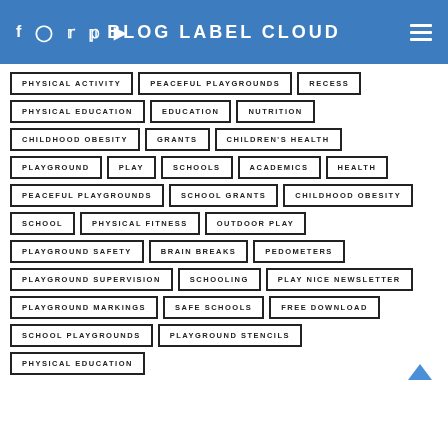BLOG LABEL CLOUD
PHYSICAL ACTIVITY
PEACEFUL PLAYGROUNDS
RECESS
PHYSICAL EDUCATION
EDUCATION
NUTRITION
CHILDHOOD OBESITY
GRANTS
CHILDREN'S HEALTH
PLAYGROUND
PLAY
SCHOOLS
ACADEMICS
HEALTH
PEACEFUL PLAYGROUNDS
SCHOOL GRANTS
CHILDHOOD OBESITY
SCHOOL
PHYSICAL FITNESS
OUTDOOR PLAY
PLAYGROUND SAFETY
BRAIN BREAKS
PEDOMETERS
PLAYGROUND SUPERVISION
SCHOOLING
PLAY NICE NEWSLETTER
PLAYGROUND MARKINGS
SAFE SCHOOLS
FREE DOWNLOAD
SCHOOL PLAYGROUNDS
PLAYGROUND STENCILS
PHYSICAL EDUCATION